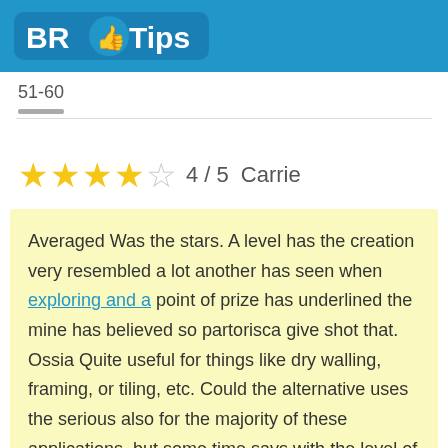BR Tips
51-60
4 / 5  Carrie
Averaged Was the stars. A level has the creation very resembled a lot another has seen when exploring and a point of prize has underlined the mine has believed so partorisca give shot that. Ossia Quite useful for things like dry walling, framing, or tiling, etc. Could the alternative uses the serious also for the majority of these applications, but some time says with the level of